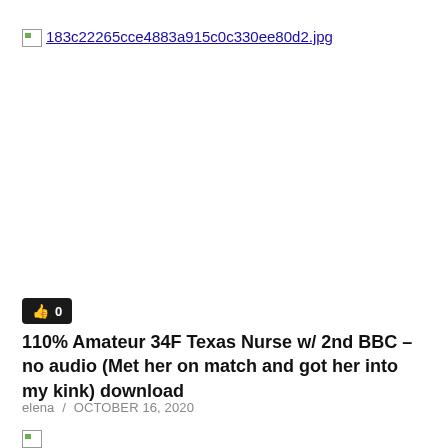[Figure (other): Broken image placeholder with filename link: 183c22265cce4883a915c0c330ee80d2.jpg]
[Figure (other): Like/thumbs-up button showing count 0]
110% Amateur 34F Texas Nurse w/ 2nd BBC – no audio (Met her on match and got her into my kink) download
elena / OCTOBER 16, 2020
[Figure (other): Broken image placeholder at bottom of page]